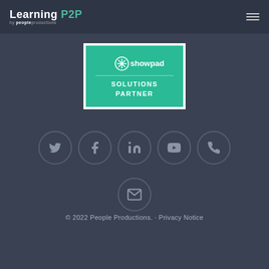Learning P2P by peopleproductions
[Figure (logo): Showpad Solutions Partner badge — teal/green background with Showpad logo and text 'SOLUTIONS PARTNER']
[Figure (infographic): Row of five social media icon circles: Twitter, Facebook, LinkedIn, YouTube, Phone; and one email icon circle below]
© 2022 People Productions. · Privacy Notice